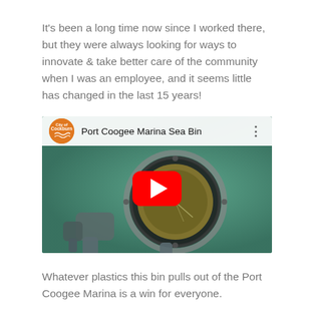It's been a long time now since I worked there, but they were always looking for ways to innovate & take better care of the community when I was an employee, and it seems little has changed in the last 15 years!
[Figure (screenshot): YouTube video embed showing 'Port Coogee Marina Sea Bin' with Cockburn council channel icon, red play button overlay, underwater view of a sea bin device in greenish water]
Whatever plastics this bin pulls out of the Port Coogee Marina is a win for everyone.